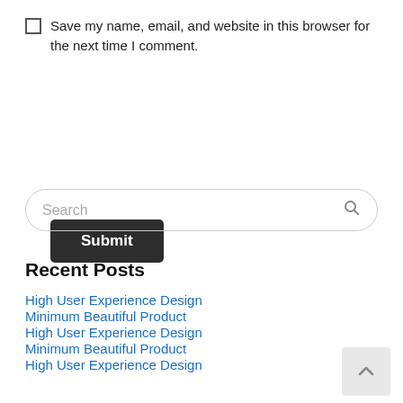Save my name, email, and website in this browser for the next time I comment.
Submit
Search
Recent Posts
High User Experience Design
Minimum Beautiful Product
High User Experience Design
Minimum Beautiful Product
High User Experience Design